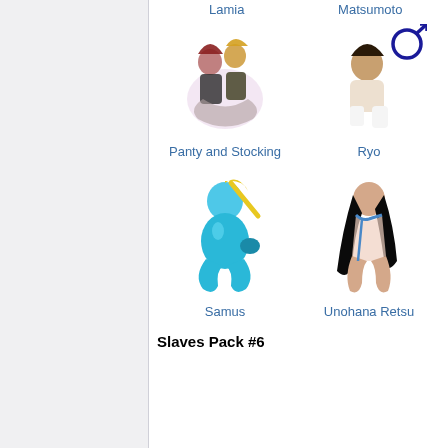Lamia
Matsumoto
[Figure (illustration): Anime illustration of two female characters (Panty and Stocking)]
[Figure (illustration): Anime illustration of a female character (Ryo) kneeling, with a male symbol overlay]
Panty and Stocking
Ryo
[Figure (illustration): Anime illustration of Samus in blue suit, crouching]
[Figure (illustration): Anime illustration of Unohana Retsu]
Samus
Unohana Retsu
Slaves Pack #6